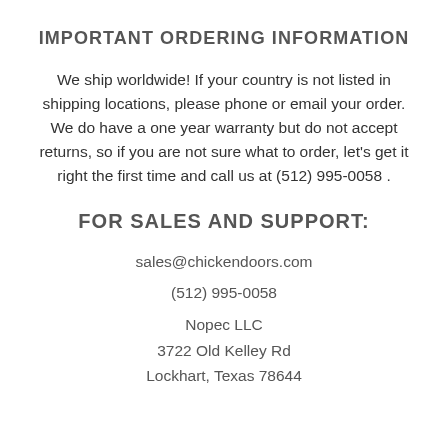IMPORTANT ORDERING INFORMATION
We ship worldwide! If your country is not listed in shipping locations, please phone or email your order. We do have a one year warranty but do not accept returns, so if you are not sure what to order, let's get it right the first time and call us at (512) 995-0058 .
FOR SALES AND SUPPORT:
sales@chickendoors.com
(512) 995-0058
Nopec LLC
3722 Old Kelley Rd
Lockhart, Texas 78644